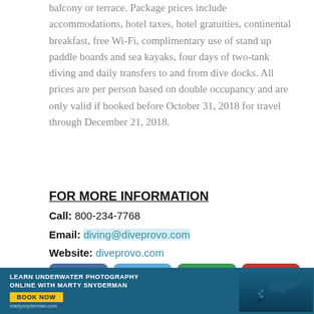balcony or terrace. Package prices include accommodations, hotel taxes, hotel gratuities, continental breakfast, free Wi-Fi, complimentary use of stand up paddle boards and sea kayaks, four days of two-tank diving and daily transfers to and from dive docks. All prices are per person based on double occupancy and are only valid if booked before October 31, 2018 for travel through December 21, 2018.
FOR MORE INFORMATION
Call: 800-234-7768
Email: diving@diveprovo.com
Website: diveprovo.com
[Figure (infographic): Four social media share buttons: Facebook (blue), Twitter (light blue), Email (green), Pinterest (red)]
[Figure (infographic): Banner advertisement: LEARN UNDERWATER PHOTOGRAPHY ONLINE WITH MARTY SNYDERMAN - BOOK NOW - martysnyderman.com, with dolphin image]